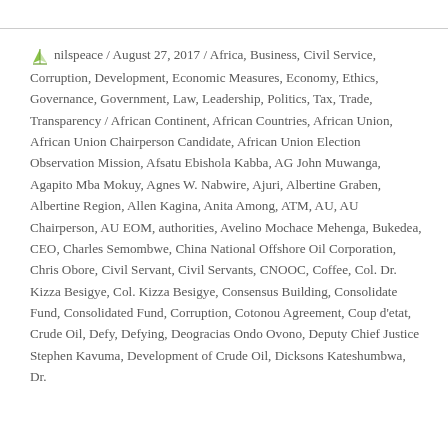nilspeace / August 27, 2017 / Africa, Business, Civil Service, Corruption, Development, Economic Measures, Economy, Ethics, Governance, Government, Law, Leadership, Politics, Tax, Trade, Transparency / African Continent, African Countries, African Union, African Union Chairperson Candidate, African Union Election Observation Mission, Afsatu Ebishola Kabba, AG John Muwanga, Agapito Mba Mokuy, Agnes W. Nabwire, Ajuri, Albertine Graben, Albertine Region, Allen Kagina, Anita Among, ATM, AU, AU Chairperson, AU EOM, authorities, Avelino Mochace Mehenga, Bukedea, CEO, Charles Semombwe, China National Offshore Oil Corporation, Chris Obore, Civil Servant, Civil Servants, CNOOC, Coffee, Col. Dr. Kizza Besigye, Col. Kizza Besigye, Consensus Building, Consolidate Fund, Consolidated Fund, Corruption, Cotonou Agreement, Coup d'etat, Crude Oil, Defy, Defying, Deogracias Ondo Ovono, Deputy Chief Justice Stephen Kavuma, Development of Crude Oil, Dicksons Kateshumbwa, Dr.